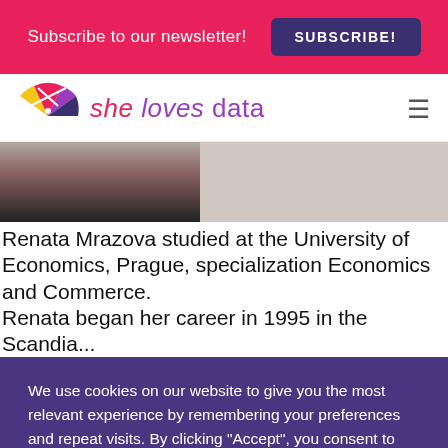Subscribe to our newsletter! SUBSCRIBE!
[Figure (logo): She Loves Data logo with colorful fan/wheel icon and brand name in pink and purple italic text]
Renata Mrazova studied at the University of Economics, Prague, specialization Economics and Commerce.
We use cookies on our website to give you the most relevant experience by remembering your preferences and repeat visits. By clicking "Accept", you consent to the use of ALL the cookies.
Cookie settings  ACCEPT